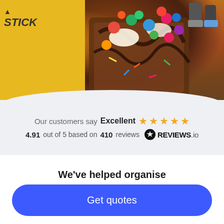[Figure (photo): Food photo showing decorated waffles/brownies with colorful candy toppings (M&Ms, chocolate drizzle), with a yellow branded background on the left side showing partial text 'STICK', and people's feet visible in the background.]
Our customers say  Excellent  ★★★★★
4.91 out of 5 based on 410 reviews  ⊕REVIEWS.io
We've helped organise
+ 3725
Get quotes